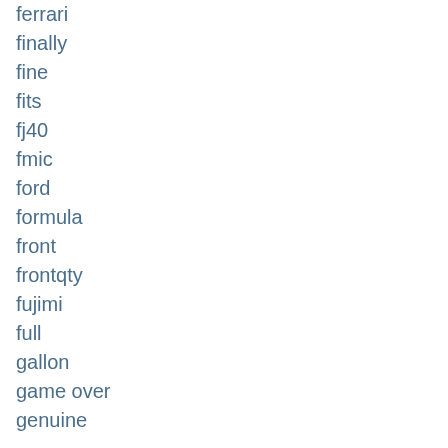ferrari
finally
fine
fits
fj40
fmic
ford
formula
front
frontqty
fujimi
full
gallon
game over
genuine